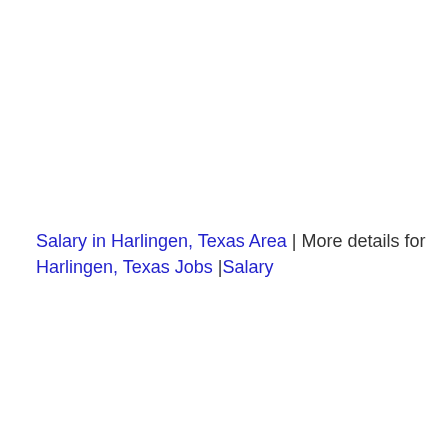Salary in Harlingen, Texas Area | More details for Harlingen, Texas Jobs |Salary